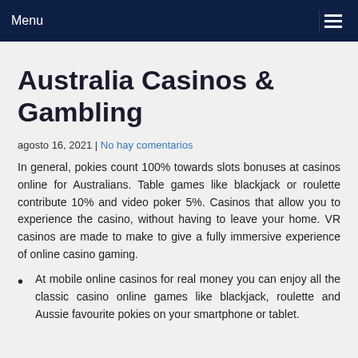Menu
Australia Casinos & Gambling
agosto 16, 2021 | No hay comentarios
In general, pokies count 100% towards slots bonuses at casinos online for Australians. Table games like blackjack or roulette contribute 10% and video poker 5%. Casinos that allow you to experience the casino, without having to leave your home. VR casinos are made to make to give a fully immersive experience of online casino gaming.
At mobile online casinos for real money you can enjoy all the classic casino online games like blackjack, roulette and Aussie favourite pokies on your smartphone or tablet.